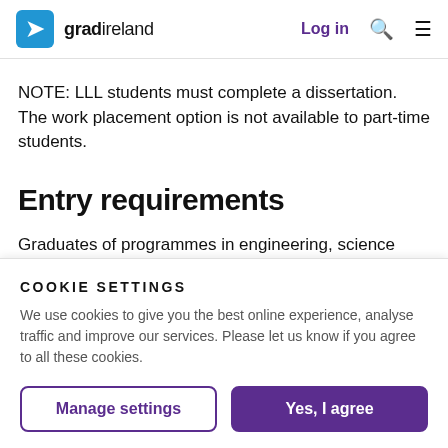gradireland — Log in
NOTE: LLL students must complete a dissertation. The work placement option is not available to part-time students.
Entry requirements
Graduates of programmes in engineering, science
COOKIE SETTINGS
We use cookies to give you the best online experience, analyse traffic and improve our services. Please let us know if you agree to all these cookies.
Manage settings   Yes, I agree